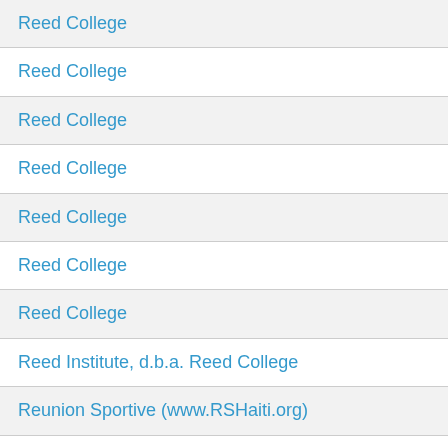| Reed College |
| Reed College |
| Reed College |
| Reed College |
| Reed College |
| Reed College |
| Reed College |
| Reed Institute, d.b.a. Reed College |
| Reunion Sportive (www.RSHaiti.org) |
| River Legacy Foundation |
| Ronald McDonald House Charities of Corpus Christi |